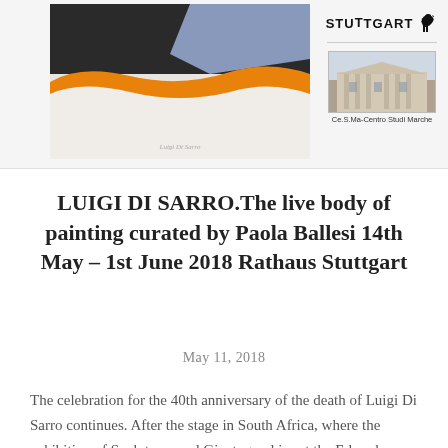[Figure (illustration): Top banner showing: left side - artwork painting by Luigi Di Sarro with abstract shapes in orange, blue, grey and white; right side - Stuttgart city logo with horse emblem and a photo of a classical building captioned Ce.S.Ma-Centro Studi Marche]
LUIGI DI SARRO.The live body of painting curated by Paola Ballesi 14th May – 1st June 2018 Rathaus Stuttgart
May 11, 2018
The celebration for the 40th anniversary of the death of Luigi Di Sarro continues. After the stage in South Africa, where the exhibition of Sculptures and Giantographies at the Edoardo